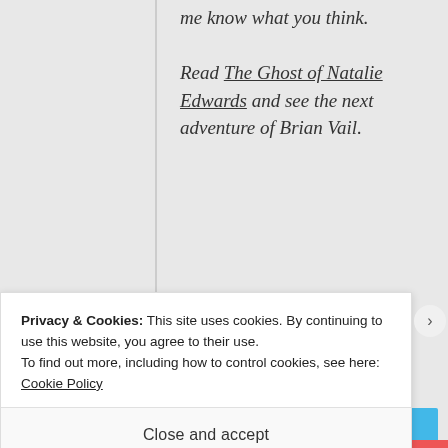me know what you think.

Read The Ghost of Natalie Edwards and see the next adventure of Brian Vail.
Advertisements
[Figure (illustration): Blue advertisement banner showing an illustrated figure holding a phone, flanked by two circular icons containing notebook/list images, with sparkle decorations on a light blue background]
Privacy & Cookies: This site uses cookies. By continuing to use this website, you agree to their use.
To find out more, including how to control cookies, see here: Cookie Policy
Close and accept